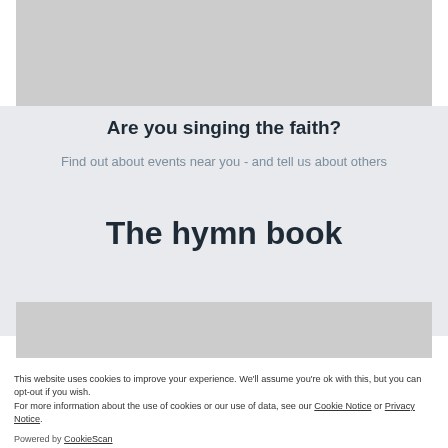[Figure (other): Gray placeholder image at the top of the page]
Are you singing the faith?
Find out about events near you - and tell us about others
The hymn book
[Figure (other): Gray placeholder image in the lower portion of the page]
This website uses cookies to improve your experience. We'll assume you're ok with this, but you can opt-out if you wish.
For more information about the use of cookies or our use of data, see our Cookie Notice or Privacy Notice.
Powered by CookieScan